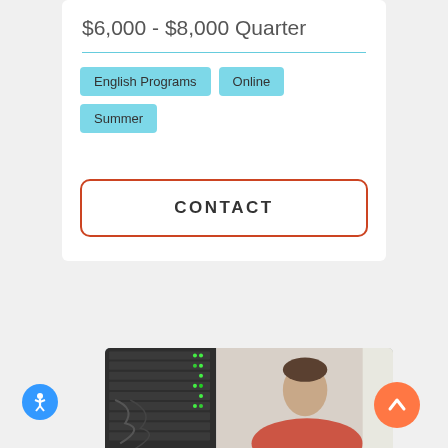$6,000 - $8,000 Quarter
English Programs
Online
Summer
CONTACT
[Figure (photo): A person working in a server room, wearing a red shirt, with server racks visible in the background with green indicator lights.]